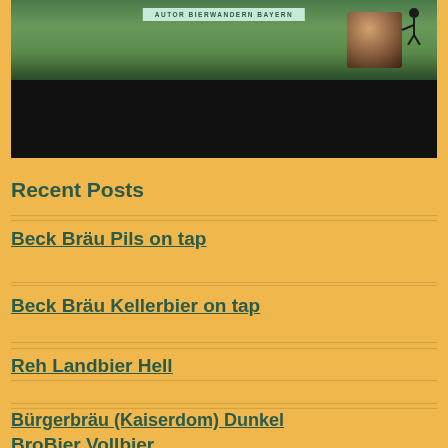[Figure (photo): Top portion of a webpage showing a photo: a person outdoors with green scenery and a light-colored banner reading 'AUTOR BIERWANDERN BAYERN', with a dark/black lower section]
Recent Posts
Beck Bräu Pils on tap
Beck Bräu Kellerbier on tap
Reh Landbier Hell
Bürgerbräu (Kaiserdom) Dunkel
BroBier Vollbier